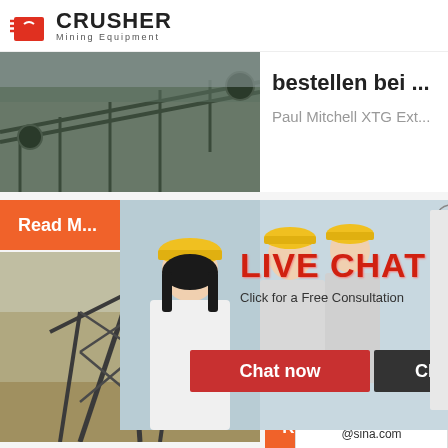[Figure (logo): Crusher Mining Equipment logo with shopping cart icon and bold text]
[Figure (photo): Mining conveyor/crusher machinery photo, top-left section]
bestellen bei ...
Paul Mitchell XTG Ext...
[Figure (photo): Live chat popup with workers in hard hats and customer service representative wearing headset]
Read M...
24Hrs Online
LIVE CHAT
Click for a Free Consultation
Chat now
Chat later
[Figure (photo): Mining machinery/crane equipment at sand quarry, bottom-left]
XTG®
XTG® EXT...
Need questions & suggestion?
Chat Now
Enquiry
limingjlmofen@sina.com
Read...